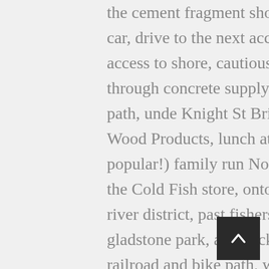the cement fragment shore, back to the car, drive to the next access point, no access to shore, cautious permission given through concrete supply yard, onto bike path, unde Knight St Bridge, to Northern Wood Products, lunch at surprising (and popular!) family run Northern Cafe, past the Cold Fish store, onto walkway through river district, past fishers and readers, to gladstone park, and back along the railroad and bike path, with a lot of blackberry stops, to Lola. ]